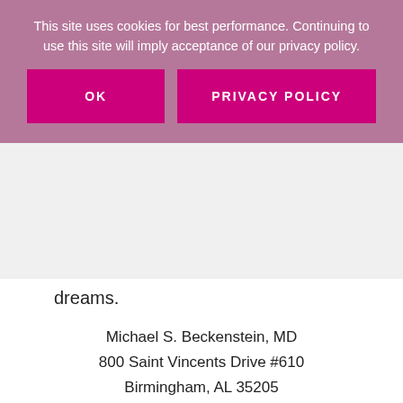This site uses cookies for best performance. Continuing to use this site will imply acceptance of our privacy policy.
OK
PRIVACY POLICY
dreams.
Michael S. Beckenstein, MD
800 Saint Vincents Drive #610
Birmingham, AL 35205
(205) 933-9308
msbmd.com
[Figure (logo): Circular logo with swirl mark and 'Member' text below]